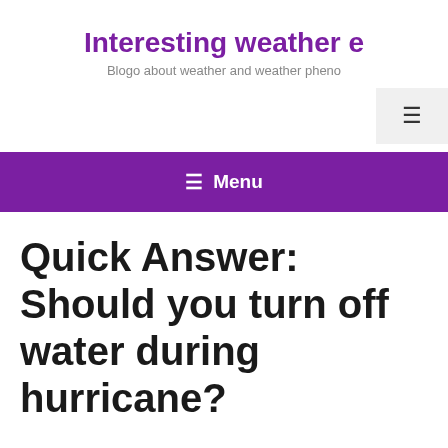Interesting weather e…
Blogo about weather and weather pheno…
≡ Menu
Quick Answer: Should you turn off water during hurricane?